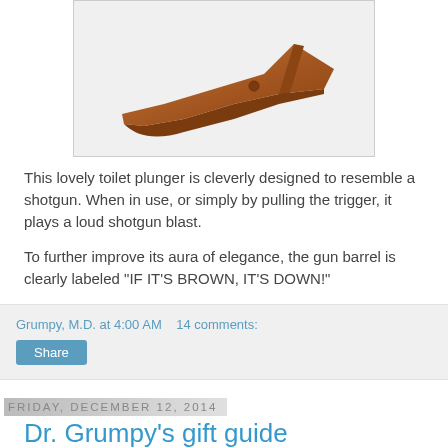[Figure (photo): A shotgun stock/butt end of a gun, brown wood color, on a light gray background]
This lovely toilet plunger is cleverly designed to resemble a shotgun. When in use, or simply by pulling the trigger, it plays a loud shotgun blast.
To further improve its aura of elegance, the gun barrel is clearly labeled "IF IT'S BROWN, IT'S DOWN!"
Grumpy, M.D. at 4:00 AM   14 comments:   Share
Friday, December 12, 2014
Dr. Grumpy's gift guide
A lot of you are requesting "Real If the Real N...